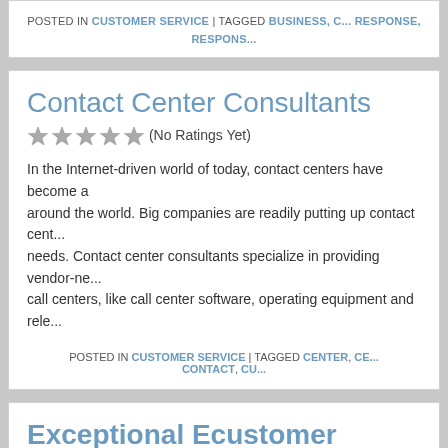POSTED IN CUSTOMER SERVICE | TAGGED BUSINESS, C... RESPONSE, RESPONS...
Contact Center Consultants
(No Ratings Yet)
In the Internet-driven world of today, contact centers have become a... around the world. Big companies are readily putting up contact cent... needs. Contact center consultants specialize in providing vendor-ne... call centers, like call center software, operating equipment and rele...
POSTED IN CUSTOMER SERVICE | TAGGED CENTER, CE... CONTACT, CU...
Exceptional Ecustomer Service In 4 Sim... Tips
(No Ratings Yet)
Two weeks ago I scribed a note of praise for Office Depot on Plane...